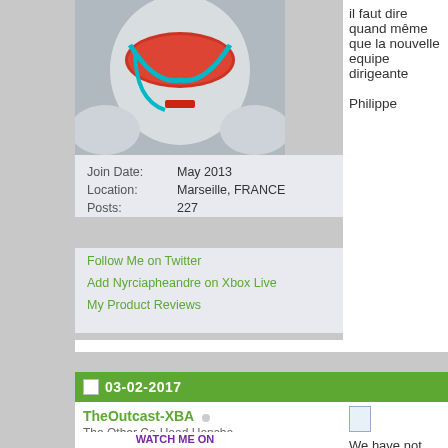[Figure (photo): Avatar image of a white armored figure wearing a helmet with red visor and teal face guard/wire attachment]
Join Date: May 2013
Location: Marseille, FRANCE
Posts: 227
Follow Me on Twitter
Add Nyrciapheandre on Xbox Live
My Product Reviews
il faut dire quand même que la
nouvelle equipe dirigeante

Philippe
03-02-2017
TheOutcast-XBA
The Other Co-Head Honcho
Join Date: Mar 2016
Location: G.V.R.D
Posts: 114
[Figure (screenshot): WATCH ME ON banner/logo partially visible]
We have not sent out the officia
good sir.

We have an email ready to do,
that we have lots of content on
roads with the bigger players wh

Don't forget we have the Xbo